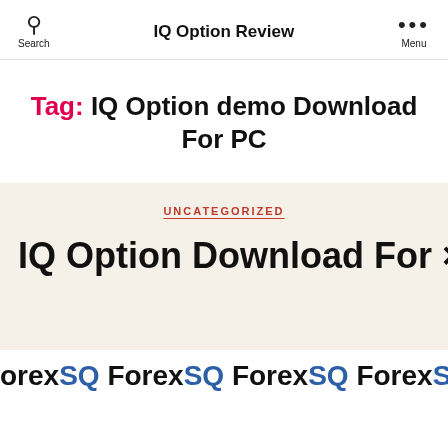IQ Option Review
Tag: IQ Option demo Download For PC
UNCATEGORIZED
IQ Option Download For ×
orexSQ ForexSQ ForexSQ ForexSQ